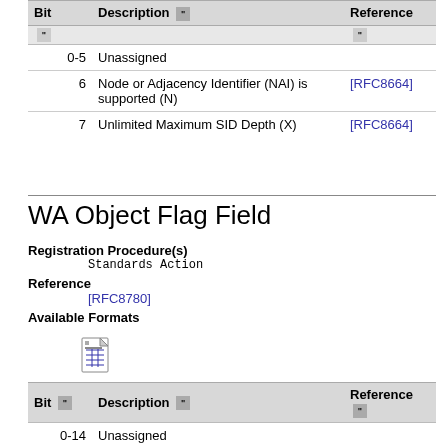| Bit | Description | Reference |
| --- | --- | --- |
| 0-5 | Unassigned |  |
| 6 | Node or Adjacency Identifier (NAI) is supported (N) | [RFC8664] |
| 7 | Unlimited Maximum SID Depth (X) | [RFC8664] |
WA Object Flag Field
Registration Procedure(s)
    Standards Action
Reference
    [RFC8780]
Available Formats
[Figure (other): CSV download icon with 'csv' label]
| Bit | Description | Reference |
| --- | --- | --- |
| 0-14 | Unassigned |  |
| 15 | Wavelength Allocation Mode | [RFC8780] |